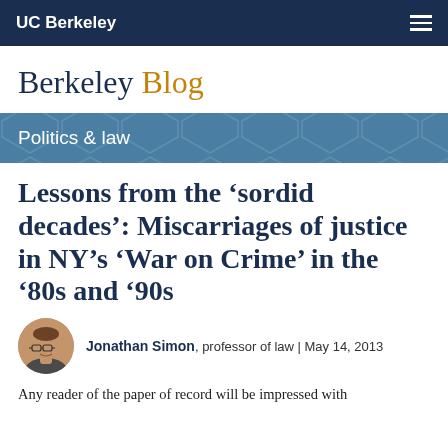UC Berkeley
Berkeley Blog
Politics & law
Lessons from the ‘sordid decades’: Miscarriages of justice in NY’s ‘War on Crime’ in the ‘80s and ’90s
Jonathan Simon, professor of law | May 14, 2013
Any reader of the paper of record will be impressed with